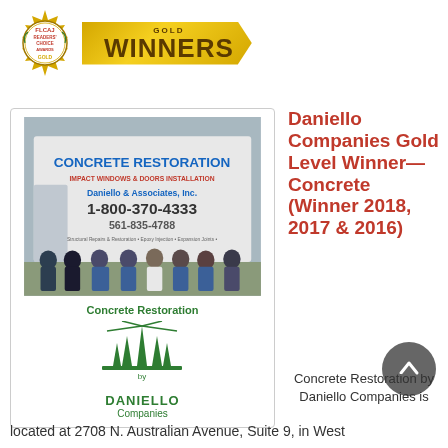[Figure (logo): FLCAJ Readers Choice Awards Gold Winners banner with seal medallion on left and gold ribbon with GOLD WINNERS text on right]
[Figure (photo): Photo of Daniello Companies concrete restoration truck with employees standing in front, and Concrete Restoration by Daniello Companies logo below]
Daniello Companies Gold Level Winner—Concrete (Winner 2018, 2017 & 2016)
Concrete Restoration by Daniello Companies is located at 2708 N. Australian Avenue, Suite 9, in West